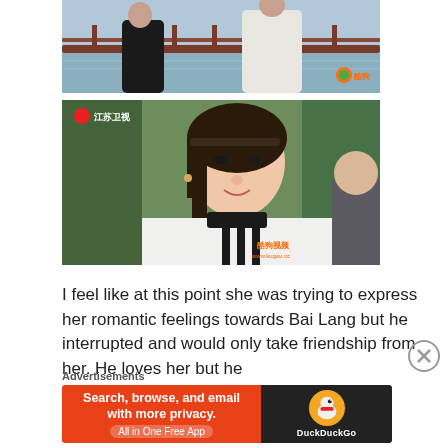[Figure (photo): Screenshot from a Chinese TV drama showing two people from behind near a railing with water in the background. A Tencent/streaming logo visible in the bottom right.]
[Figure (photo): Screenshot from a Chinese TV drama (Jiangsu Satellite TV) showing a close-up of a young woman with dark hair wearing a black and white outfit, looking to the side. A streaming logo visible in the bottom right.]
I feel like at this point she was trying to express her romantic feelings towards Bai Lang but he interrupted and would only take friendship from her. He loves her but he
Advertisements
[Figure (screenshot): DuckDuckGo advertisement banner. Left side orange/red with text 'Search, browse, and email with more privacy. All in One Free App'. Right side dark with DuckDuckGo duck logo and 'DuckDuckGo' text.]